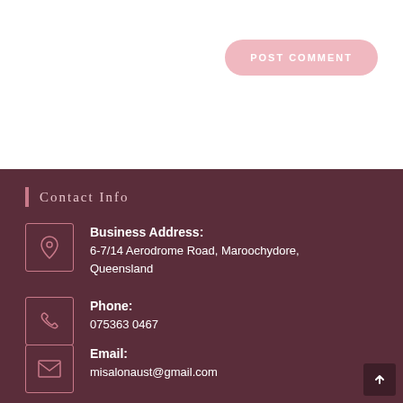POST COMMENT
Contact Info
Business Address:
6-7/14 Aerodrome Road, Maroochydore, Queensland
Phone:
075363 0467
Email:
misalonaust@gmail.com